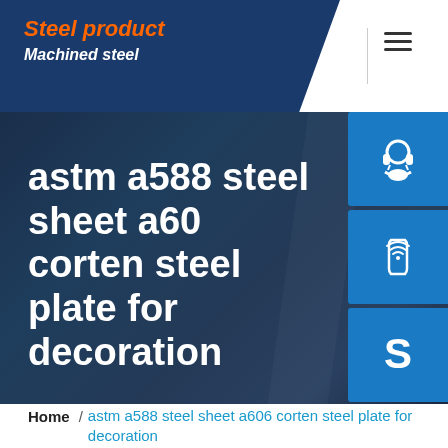Steel product / Machined steel
astm a588 steel sheet a606 corten steel plate for decoration
[Figure (screenshot): Three blue icon buttons on right side: headset/customer service icon, phone with wifi signal icon, Skype 'S' logo icon]
Home / astm a588 steel sheet a606 corten steel plate for decoration